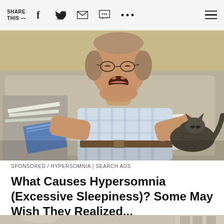SHARE THIS —  [social icons: facebook, twitter, email, message, more, menu]
[Figure (photo): Older man with glasses sitting on a beige sofa, leaning back with mouth open as if dozing or yawning, holding newspapers/documents in his lap, with a dark cat resting beside him on the couch. Warm beige/tan wall in background.]
SPONSORED / HYPERSOMNIA | SEARCH ADS
What Causes Hypersomnia (Excessive Sleepiness)? Some May Wish They Realized...